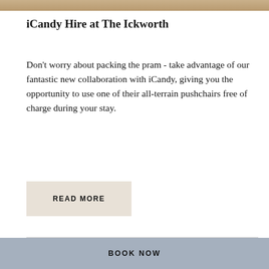[Figure (photo): Decorative top image strip with warm sandy/earthy texture]
iCandy Hire at The Ickworth
Don't worry about packing the pram - take advantage of our fantastic new collaboration with iCandy, giving you the opportunity to use one of their all-terrain pushchairs free of charge during your stay.
READ MORE
SHARE
BOOK NOW